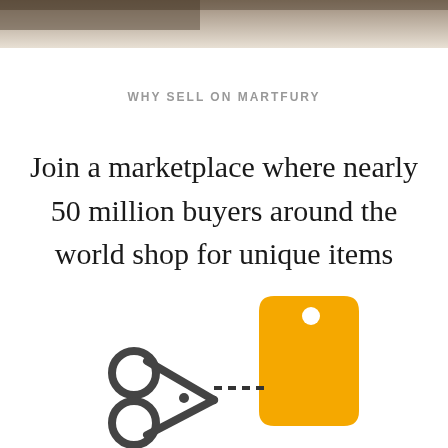[Figure (photo): Top strip showing a partial photo of a person in a marketplace or craft setting]
WHY SELL ON MARTFURY
Join a marketplace where nearly 50 million buyers around the world shop for unique items
[Figure (illustration): Icon of scissors cutting a dashed line next to a yellow price tag]